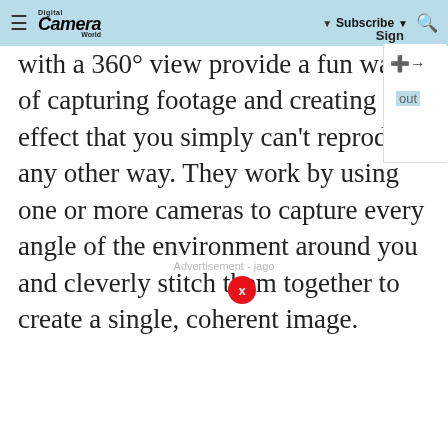Digital Camera World | Subscribe | Sign in
with a 360° view provide a fun way of capturing footage and creating an effect that you simply can't reproduce any other way. They work by using one or more cameras to capture every angle of the environment around you and cleverly stitch them together to create a single, coherent image.
Advertisement - jago